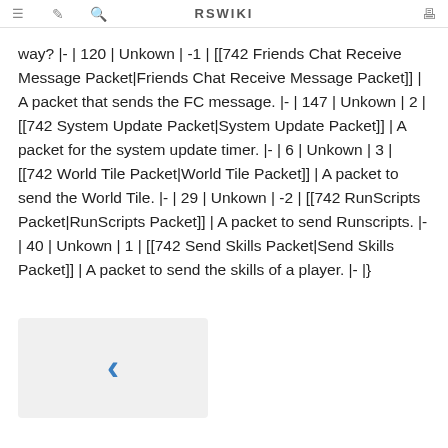RSWIKI
way? |- | 120 | Unkown | -1 | [[742 Friends Chat Receive Message Packet|Friends Chat Receive Message Packet]] | A packet that sends the FC message. |- | 147 | Unkown | 2 | [[742 System Update Packet|System Update Packet]] | A packet for the system update timer. |- | 6 | Unkown | 3 | [[742 World Tile Packet|World Tile Packet]] | A packet to send the World Tile. |- | 29 | Unkown | -2 | [[742 RunScripts Packet|RunScripts Packet]] | A packet to send Runscripts. |- | 40 | Unkown | 1 | [[742 Send Skills Packet|Send Skills Packet]] | A packet to send the skills of a player. |- |}
[Figure (other): Navigation back button (left chevron) in a light grey box]